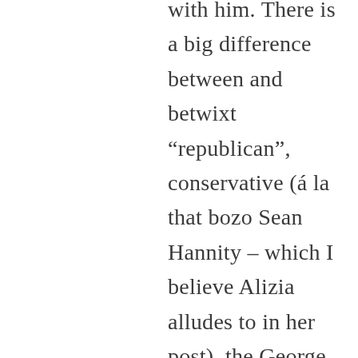with him. There is a big difference between and betwixt “republican”, conservative (á la that bozo Sean Hannity – which I believe Alizia alludes to in her post), the George Willian (if Alizia can use “Marxian” as opposed to “Marxist”